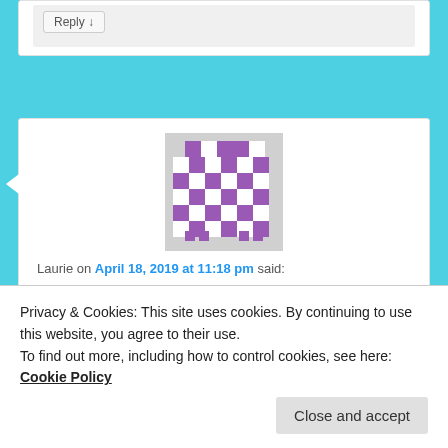Reply ↓
Laurie on April 18, 2019 at 11:18 pm said:
[Figure (illustration): Purple and white pixel/mosaic pattern avatar for user Laurie]
My experience has been that I can enable and use MyTreeTags without enabling New & Improved DNA Matches or vice versa or, of course, enable and use both.
Privacy & Cookies: This site uses cookies. By continuing to use this website, you agree to their use.
To find out more, including how to control cookies, see here: Cookie Policy
Close and accept
enable/disable/enable process about two weeks